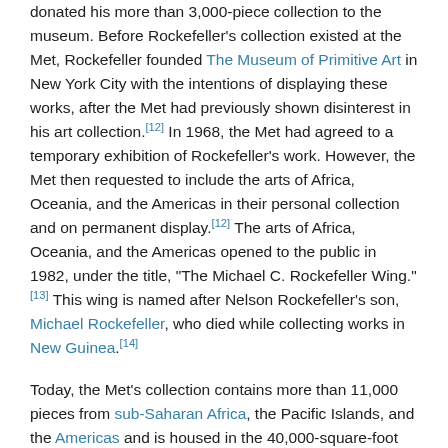donated his more than 3,000-piece collection to the museum. Before Rockefeller's collection existed at the Met, Rockefeller founded The Museum of Primitive Art in New York City with the intentions of displaying these works, after the Met had previously shown disinterest in his art collection.[12] In 1968, the Met had agreed to a temporary exhibition of Rockefeller's work. However, the Met then requested to include the arts of Africa, Oceania, and the Americas in their personal collection and on permanent display.[12] The arts of Africa, Oceania, and the Americas opened to the public in 1982, under the title, "The Michael C. Rockefeller Wing."[13] This wing is named after Nelson Rockefeller's son, Michael Rockefeller, who died while collecting works in New Guinea.[14]
Today, the Met's collection contains more than 11,000 pieces from sub-Saharan Africa, the Pacific Islands, and the Americas and is housed in the 40,000-square-foot (4,000 m2) Rockefeller Wing on the south end of the museum.[15] The Wing exhibits Non-Western works of art created from 3,000 BCE... present, while at the same